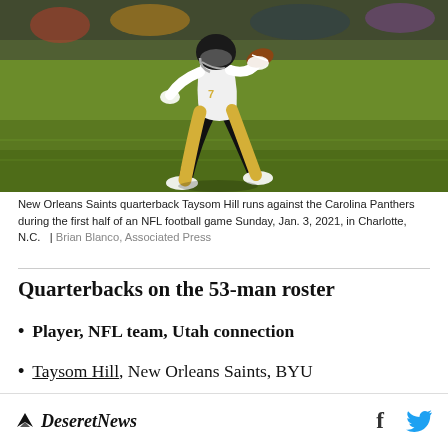[Figure (photo): New Orleans Saints quarterback Taysom Hill running with the football against the Carolina Panthers during an NFL football game, wearing white jersey and black pants on a grass field.]
New Orleans Saints quarterback Taysom Hill runs against the Carolina Panthers during the first half of an NFL football game Sunday, Jan. 3, 2021, in Charlotte, N.C.  |  Brian Blanco, Associated Press
Quarterbacks on the 53-man roster
Player, NFL team, Utah connection
Taysom Hill, New Orleans Saints, BYU
Deseret News